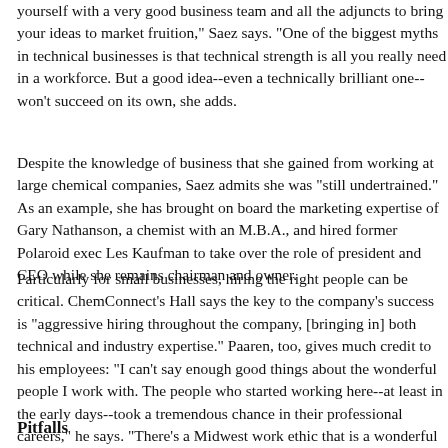yourself with a very good business team and all the adjuncts to bring your ideas to market fruition," Saez says. "One of the biggest myths in technical businesses is that technical strength is all you really need in a workforce. But a good idea--even a technically brilliant one--won't succeed on its own, she adds.
Despite the knowledge of business that she gained from working at large chemical companies, Saez admits she was "still undertrained." As an example, she has brought on board the marketing expertise of Gary Nathanson, a chemist with an M.B.A., and hired former Polaroid exec Les Kaufman to take over the role of president and CEO while she remains chairman and owner.
Particularly for small businesses, hiring the right people can be critical. ChemConnect's Hall says the key to the company's success is "aggressive hiring throughout the company, [bringing in] both technical and industry expertise." Paaren, too, gives much credit to his employees: "I can't say enough good things about the wonderful people I work with. The people who started working here--at least in the early days--took a tremendous chance in their professional careers," he says. "There's a Midwest work ethic that is a wonderful thing, especially when you have to work 60- or 70-hour weeks. We've certainly had to put in the hours to make things happen."
Pitfalls